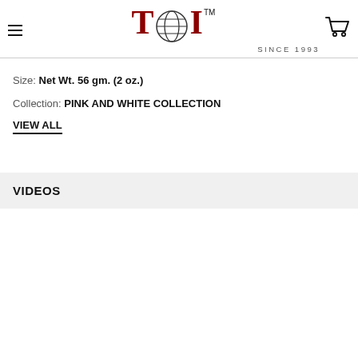TDI™ SINCE 1993
Size: Net Wt. 56 gm. (2 oz.)
Collection: PINK AND WHITE COLLECTION
VIEW ALL
VIDEOS